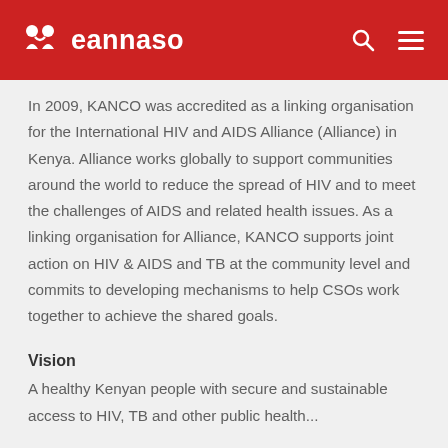eannaso
In 2009, KANCO was accredited as a linking organisation for the International HIV and AIDS Alliance (Alliance) in Kenya. Alliance works globally to support communities around the world to reduce the spread of HIV and to meet the challenges of AIDS and related health issues. As a linking organisation for Alliance, KANCO supports joint action on HIV & AIDS and TB at the community level and commits to developing mechanisms to help CSOs work together to achieve the shared goals.
Vision
A healthy Kenyan people with secure and sustainable access to HIV, TB and other public health...